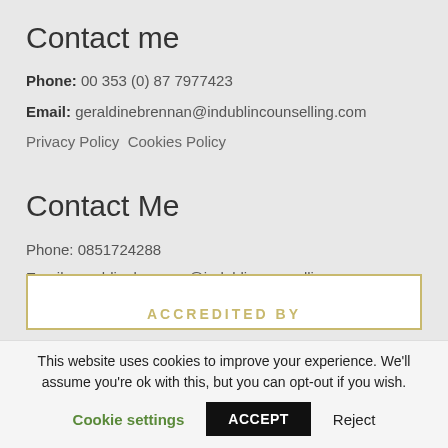Contact me
Phone: 00 353 (0) 87 7977423
Email: geraldinebrennan@indublincounselling.com
Privacy Policy Cookies Policy
Contact Me
Phone: 0851724288
Email: geraldinebrennan@indublincounselling.com
[Figure (other): Accreditation badge box with gold border showing 'ACCREDITED BY' text partially visible]
This website uses cookies to improve your experience. We'll assume you're ok with this, but you can opt-out if you wish.
Cookie settings   ACCEPT   Reject